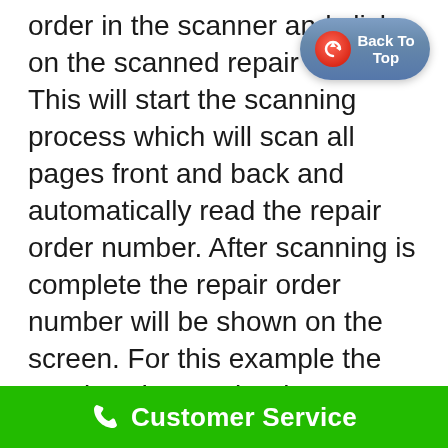order in the scanner and click on the scanned repair order. This will start the scanning process which will scan all pages front and back and automatically read the repair order number. After scanning is complete the repair order number will be shown on the screen. For this example the repair order number is 995957. You can now confirm that the repair order matches the number on the screen. Then click OK
[Figure (other): Back To Top button - a blue pill-shaped button with a red circular arrow icon and white text reading 'Back To Top']
Customer Service